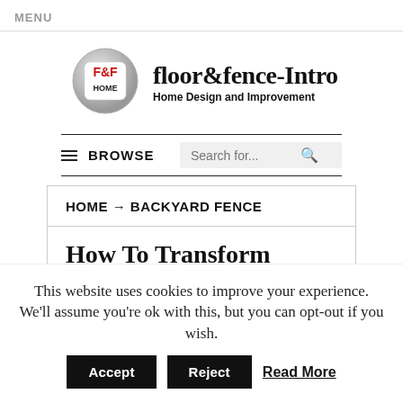MENU
[Figure (logo): F&F HOME logo icon — circular silver badge with red F&F text and HOME below]
floor&fence-Intro
Home Design and Improvement
≡ BROWSE    Search for...
HOME → BACKYARD FENCE
How To Transform
This website uses cookies to improve your experience. We'll assume you're ok with this, but you can opt-out if you wish.
Accept   Reject   Read More